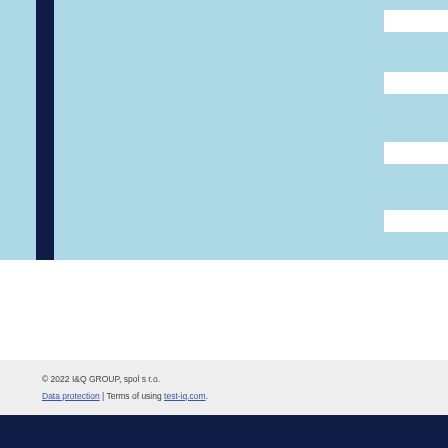[Figure (other): Partial view of a website interface showing a light blue panel with a dark navy vertical bar on the left and white horizontal stripes on the right side, representing a cropped screenshot of a test or quiz platform.]
© 2022 I&Q GROUP, spol s r.o.
Data protection | Terms of using test-iq.com.